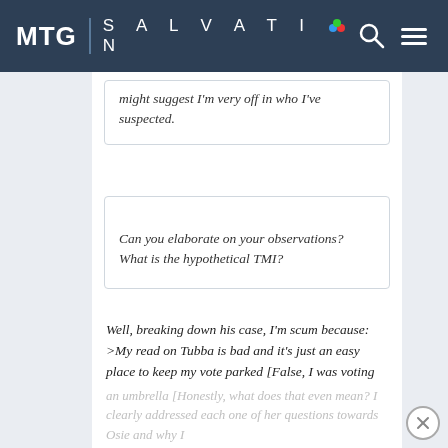MTG | SALVATION
might suggest I'm very off in who I've suspected.
Can you elaborate on your observations? What is the hypothetical TMI?
Well, breaking down his case, I'm scum because:
>My read on Tubba is bad and it's just an easy place to keep my vote parked [False, I was voting Poofme]
>My attack on Scarlet but not voting her is an umbrella [Honestly, what does that even mean? I clearly addressed each one of her questions towards Osie and why I
an umbrella [Honestly, what does that even mean? I clearly addressed each one of her questions towards Osie and why I